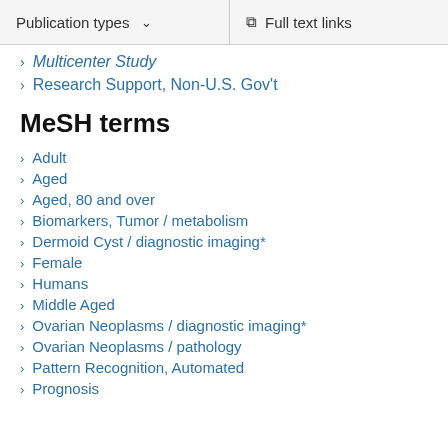Publication types | Full text links
Multicenter Study
Research Support, Non-U.S. Gov't
MeSH terms
Adult
Aged
Aged, 80 and over
Biomarkers, Tumor / metabolism
Dermoid Cyst / diagnostic imaging*
Female
Humans
Middle Aged
Ovarian Neoplasms / diagnostic imaging*
Ovarian Neoplasms / pathology
Pattern Recognition, Automated
Prognosis